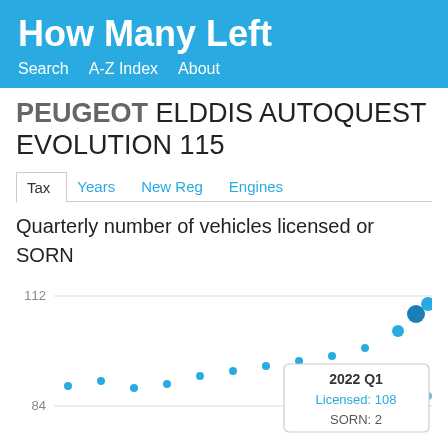How Many Left
Search   A-Z Index   About
PEUGEOT ELDDIS AUTOQUEST EVOLUTION 115
Tax   Years   New Reg   Engines
Quarterly number of vehicles licensed or SORN
[Figure (line-chart): Line chart showing quarterly licensed and SORN vehicle counts. Tooltip visible for 2022 Q1: Licensed: 108, SORN: 2. Y-axis shows 84 and 112 gridlines.]